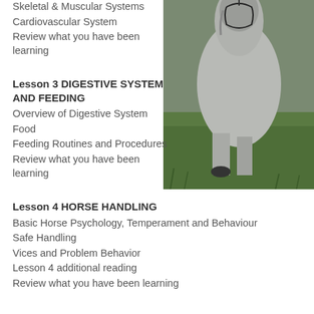Skeletal & Muscular Systems
Cardiovascular System
Review what you have been learning
[Figure (photo): Close-up photo of a grey horse standing on grass, viewed from the side/front, wearing a bridle]
Lesson 3 DIGESTIVE SYSTEM AND FEEDING
Overview of Digestive System
Food
Feeding Routines and Procedures
Review what you have been learning
Lesson 4 HORSE HANDLING
Basic Horse Psychology, Temperament and Behaviour
Safe Handling
Vices and Problem Behavior
Lesson 4 additional reading
Review what you have been learning